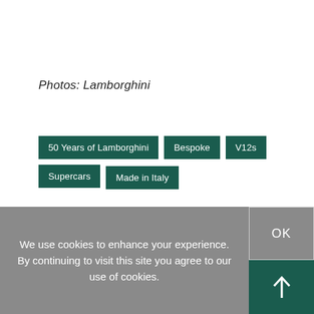Photos: Lamborghini
50 Years of Lamborghini
Bespoke
V12s
Supercars
Made in Italy
We use cookies to enhance your experience. By continuing to visit this site you agree to our use of cookies.
OK